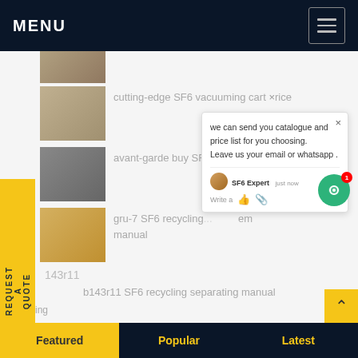MENU
REQUEST A QUOTE
cutting-edge SF6 vacuuming cart price
avant-garde buy SF6 m... stem
gru-7 SF6 recycling ... em manual
b43r11
cycling
separating
manual
b143r11 SF6 recycling separating manual
we can send you catalogue and price list for you choosing.
Leave us your email or whatsapp .
SF6 Expert   just now
Write a
Featured   Popular   Latest